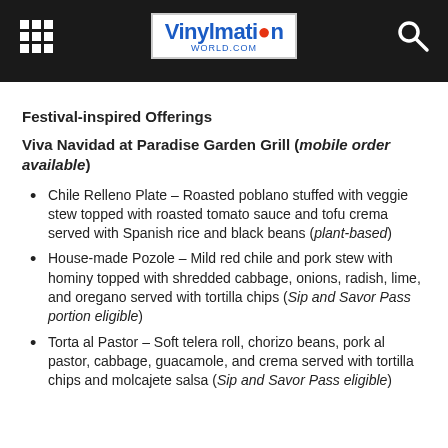VinylmationWorld.com
Festival-inspired Offerings
Viva Navidad at Paradise Garden Grill (mobile order available)
Chile Relleno Plate – Roasted poblano stuffed with veggie stew topped with roasted tomato sauce and tofu crema served with Spanish rice and black beans (plant-based)
House-made Pozole – Mild red chile and pork stew with hominy topped with shredded cabbage, onions, radish, lime, and oregano served with tortilla chips (Sip and Savor Pass portion eligible)
Torta al Pastor – Soft telera roll, chorizo beans, pork al pastor, cabbage, guacamole, and crema served with tortilla chips and molcajete salsa (Sip and Savor Pass eligible)